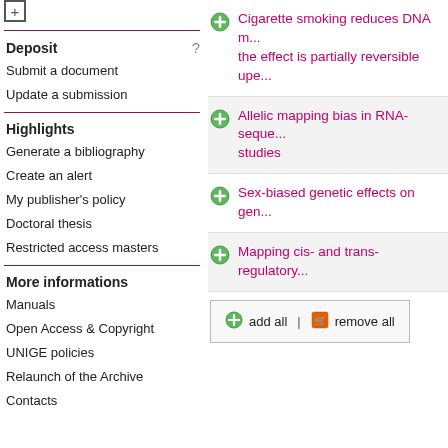Deposit
Submit a document
Update a submission
Highlights
Generate a bibliography
Create an alert
My publisher's policy
Doctoral thesis
Restricted access masters
More informations
Manuals
Open Access & Copyright
UNIGE policies
Relaunch of the Archive
Contacts
Cigarette smoking reduces DNA m... the effect is partially reversible upe...
Allelic mapping bias in RNA-seque... studies
Sex-biased genetic effects on gen...
Mapping cis- and trans-regulatory...
add all | remove all